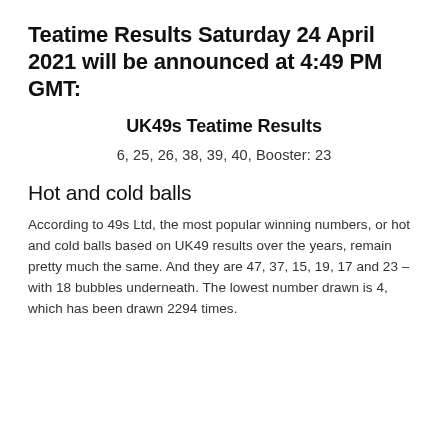Teatime Results Saturday 24 April 2021 will be announced at 4:49 PM GMT:
UK49s Teatime Results
6, 25, 26, 38, 39, 40, Booster: 23
Hot and cold balls
According to 49s Ltd, the most popular winning numbers, or hot and cold balls based on UK49 results over the years, remain pretty much the same. And they are 47, 37, 15, 19, 17 and 23 – with 18 bubbles underneath. The lowest number drawn is 4, which has been drawn 2294 times.